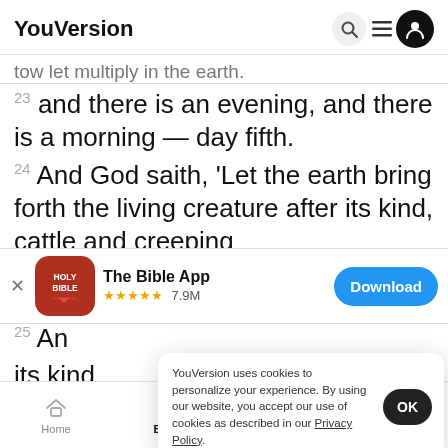YouVersion
tow let multiply in the earth.
23 and there is an evening, and there is a morning — day fifth.
24 And God saith, 'Let the earth bring forth the living creature after its kind, cattle and creeping
[Figure (screenshot): App download banner for The Bible App with Holy Bible icon, 5-star rating 7.9M, and Download button]
25 And ... its kind
YouVersion uses cookies to personalize your experience. By using our website, you accept our use of cookies as described in our Privacy Policy.
Home  Bible  Plans  Videos